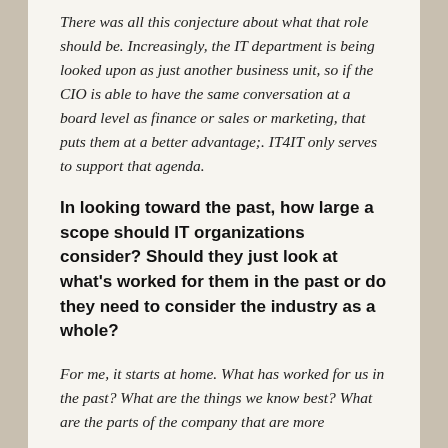There was all this conjecture about what that role should be. Increasingly, the IT department is being looked upon as just another business unit, so if the CIO is able to have the same conversation at a board level as finance or sales or marketing, that puts them at a better advantage;. IT4IT only serves to support that agenda.
In looking toward the past, how large a scope should IT organizations consider? Should they just look at what's worked for them in the past or do they need to consider the industry as a whole?
For me, it starts at home. What has worked for us in the past? What are the things we know best? What are the parts of the company that are more